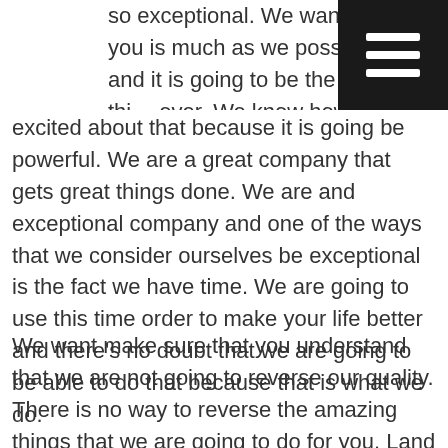so exceptional. We want to help you is much as we possibly can and it is going to be the greatest thing ever. We know how great we are and we are really excited about that because it is going be powerful. We are a great company that gets great things done. We are and exceptional company and one of the ways that we consider ourselves be exceptional is the fact we have time. We are going to use this time order to make your life better and there’s no doubt that we are going to be able to do that because that is what we do.
We want make sure that you understand that we are not going to reverse our quality. There is no way to reverse the amazing things that we are going to do for you. Land surveying is not something that you can reverse. One make sure that you understand that we are the reverse of the that company now. We are really excited about all of the ways that we are going to be able to make your life so much